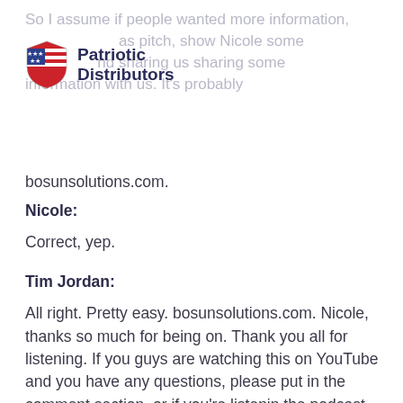So I assume if people wanted more information, as pitch, show Nicole some and sharing us sharing some information with us. It's probably bosunsolutions.com.
[Figure (logo): Patriotic Distributors logo: a shield with stars and stripes on the left, company name text on the right]
Nicole:
Correct, yep.
Tim Jordan:
All right. Pretty easy. bosunsolutions.com. Nicole, thanks so much for being on. Thank you all for listening. If you guys are watching this on YouTube and you have any questions, please put in the comment section, or if you're listenin the podcast platforms, you can give us a re and let us know what you think about these